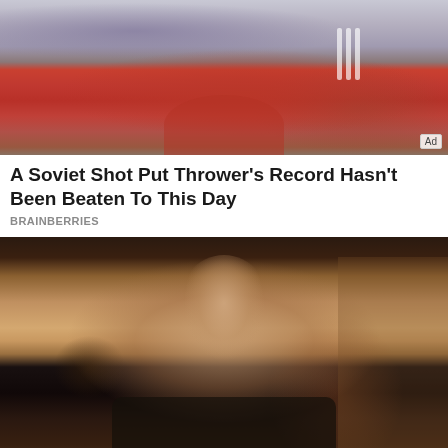[Figure (photo): A Soviet-era athlete in a red Adidas shirt, partial torso view, crowd blurred in background. Ad badge visible bottom-right.]
A Soviet Shot Put Thrower's Record Hasn't Been Beaten To This Day
BRAINBERRIES
[Figure (photo): A young teenage girl with long dark braided hair wearing a dark jacket over a patterned sweater, looking slightly to the side in what appears to be a school or home setting with shelves in background. Ad badge visible bottom-right.]
Where The Cast Of Freaks And Geeks Is Today
BRAINBERRIES